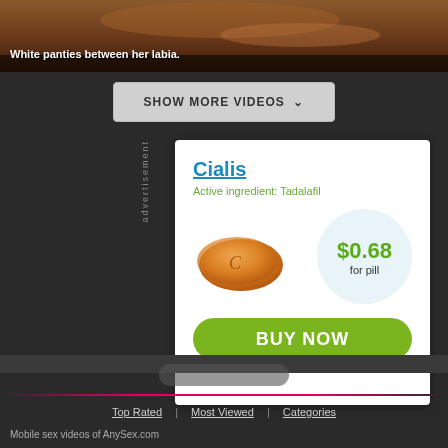[Figure (photo): Cropped adult content image at top of page]
White panties between her labia.
SHOW MORE VIDEOS ∨
advertisement
[Figure (illustration): Cialis advertisement box with pill image showing $0.68 for pill price and BUY NOW button]
Top Rated | Most Viewed | Categories
Mobile sex videos of AnySex.com